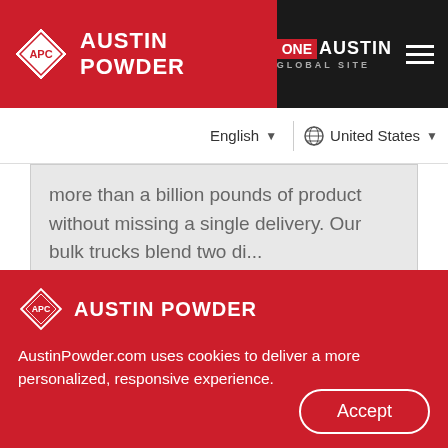AUSTIN POWDER | ONE AUSTIN GLOBAL SITE
English ▾   🌐 United States ▾
more than a billion pounds of product without missing a single delivery. Our bulk trucks blend two di...
Learn More
[Figure (infographic): Social share icons: LinkedIn, Twitter, Facebook, Email — red square buttons with white icons]
AUSTIN POWDER
AustinPowder.com uses cookies to deliver a more personalized, responsive experience.
Accept